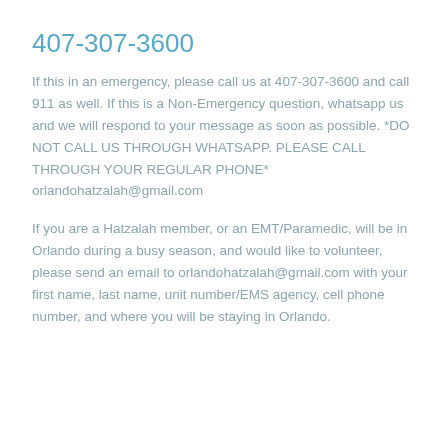407-307-3600
If this in an emergency, please call us at 407-307-3600 and call 911 as well. If this is a Non-Emergency question, whatsapp us and we will respond to your message as soon as possible. *DO NOT CALL US THROUGH WHATSAPP. PLEASE CALL THROUGH YOUR REGULAR PHONE* orlandohatzalah@gmail.com
If you are a Hatzalah member, or an EMT/Paramedic, will be in Orlando during a busy season, and would like to volunteer, please send an email to orlandohatzalah@gmail.com with your first name, last name, unit number/EMS agency, cell phone number, and where you will be staying in Orlando.